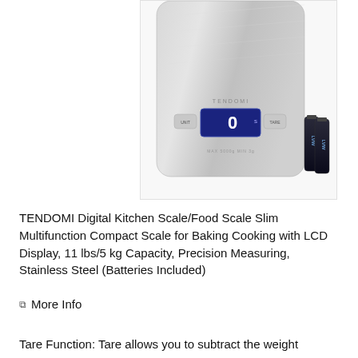[Figure (photo): Photo of TENDOMI digital kitchen food scale with stainless steel surface, blue LCD display showing 0, and two AAA batteries beside it.]
TENDOMI Digital Kitchen Scale/Food Scale Slim Multifunction Compact Scale for Baking Cooking with LCD Display, 11 lbs/5 kg Capacity, Precision Measuring, Stainless Steel (Batteries Included)
More Info
Tare Function: Tare allows you to subtract the weight